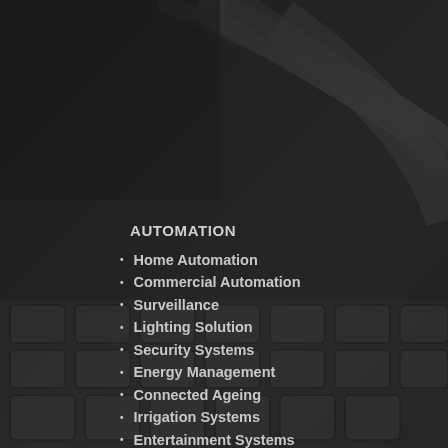[Figure (photo): Dark background photo of keyboard keys and cables, greyscale/dark tone]
AUTOMATION
Home Automation
Commercial Automation
Surveillance
Lighting Solution
Security Systems
Energy Management
Connected Ageing
Irrigation Systems
Entertainment Systems
SERVICEMART
ServiceMart Login
Repair Today